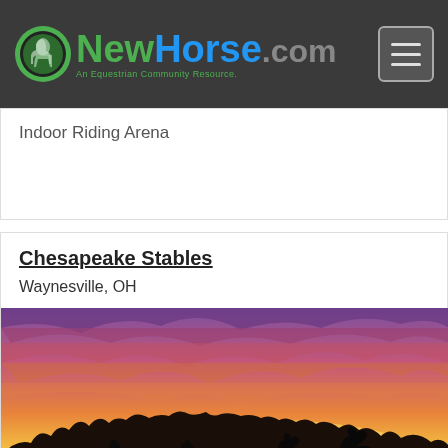NewHorse.com - An Equestrian Community Resource.
Indoor Riding Arena
Chesapeake Stables
Waynesville, OH
[Figure (photo): Sunset photo of horses grazing in a field, silhouetted against a vivid orange, pink, and purple sky with dramatic clouds and treeline in background.]